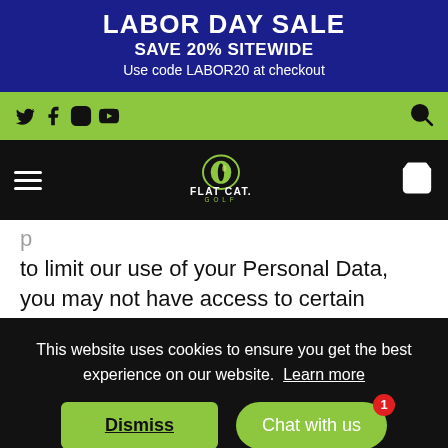LABOR DAY SALE
SAVE 20% SITEWIDE
Use code LABOR20 at checkout
[Figure (screenshot): Social media icons bar (Twitter, Facebook, Instagram, YouTube) on green background with search icon on right]
[Figure (logo): Flat Cat Golf logo with cat eye icon on black navigation header]
to limit our use of your Personal Data, you may not have access to certain functionality of the Site, such as promotions, product
This website uses cookies to ensure you get the best experience on our website. Learn more
cybersecurity obligations under the laws of all